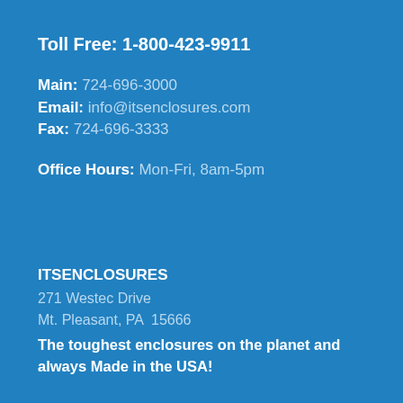Toll Free: 1-800-423-9911
Main: 724-696-3000
Email: info@itsenclosures.com
Fax: 724-696-3333
Office Hours: Mon-Fri, 8am-5pm
ITSENCLOSURES
271 Westec Drive
Mt. Pleasant, PA  15666
The toughest enclosures on the planet and always Made in the USA!